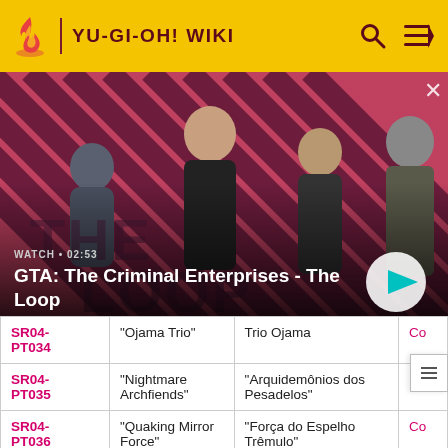YU-GI-OH! WIKI
[Figure (screenshot): GTA: The Criminal Enterprises - The Loop video thumbnail with characters on striped red/black background, WATCH • 02:53 label and play button]
| ID | English title | Portuguese title |  |
| --- | --- | --- | --- |
| SR04-PT034 | "Ojama Trio" | Trio Ojama | Co |
| SR04-PT035 | "Nightmare Archfiends" | "Arquidemônios dos Pesadelos" |  |
| SR04-PT036 | "Quaking Mirror Force" | "Força do Espelho Trêmulo" | Co |